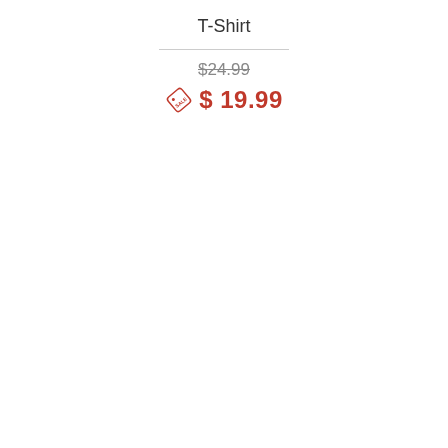T-Shirt
$24.99 (original price, strikethrough)
$ 19.99 (sale price with sale tag icon)